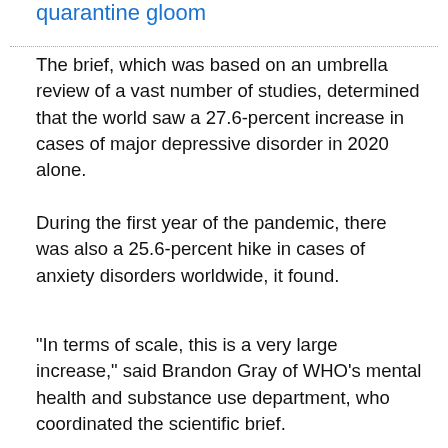quarantine gloom
The brief, which was based on an umbrella review of a vast number of studies, determined that the world saw a 27.6-percent increase in cases of major depressive disorder in 2020 alone.
During the first year of the pandemic, there was also a 25.6-percent hike in cases of anxiety disorders worldwide, it found.
"In terms of scale, this is a very large increase," said Brandon Gray of WHO’s mental health and substance use department, who coordinated the scientific brief.
The brief, he told AFP, "shows that Covid-19 has had a large impact on people's mental health and wellbeing."
The greatest increases were found in places that were heavily affected by Covid-19, in terms of high daily infection rates and decreased mobility due to restrictions, the study found.